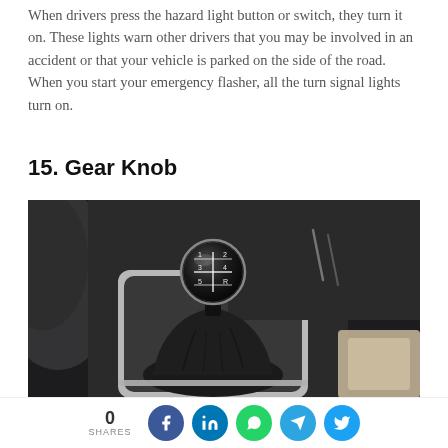When drivers press the hazard light button or switch, they turn it on. These lights warn other drivers that you may be involved in an accident or that your vehicle is parked on the side of the road. When you start your emergency flasher, all the turn signal lights turn on.
15. Gear Knob
[Figure (photo): Close-up photo of a manual transmission gear knob in a car interior, showing a black leather gear shift boot and a glossy black spherical knob with gear pattern markings (1-5 and R), set within a chrome-trimmed center console with dark panel surroundings.]
0 SHARES | Facebook | LinkedIn | WhatsApp | Telegram | Twitter